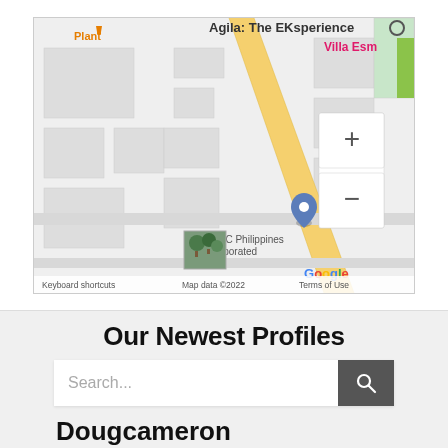[Figure (map): Google Maps screenshot showing Philippines area with KVLMCC Philippines Incorporated location marker, yellow road, building outlines, zoom controls (+/-), photo thumbnail, Google branding, and text: 'Agila: The EKsperience', 'Villa Esm', 'Plant', 'Keyboard shortcuts', 'Map data ©2022', 'Terms of Use']
Our Newest Profiles
Search...
Dougcameron